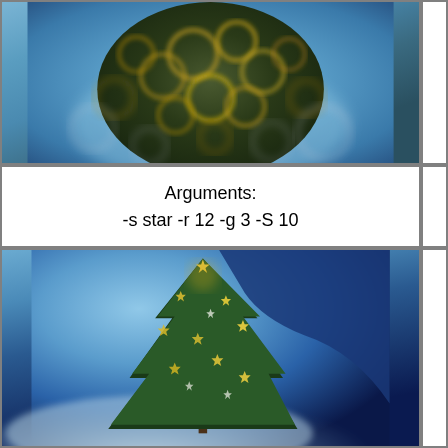[Figure (photo): Close-up blurry photo of the top of a Christmas tree with circular bokeh light effects in gold/yellow against a blue background. The image is cropped showing only the upper portion.]
Arguments:
-s star -r 12 -g 3 -S 10
[Figure (photo): Photo of a decorated Christmas tree with star-shaped ornaments in gold/yellow and white against a blue snowy background. The tree is full and tall with a star on top.]